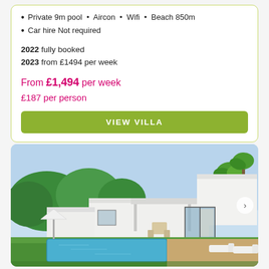Private 9m pool • Aircon • Wifi • Beach 850m
Car hire Not required
2022 fully booked
2023 from £1494 per week
From £1,494 per week
£187 per person
VIEW VILLA
[Figure (photo): Exterior photo of a modern white villa with a swimming pool, green lawn, palm trees, and clear sky in the background]